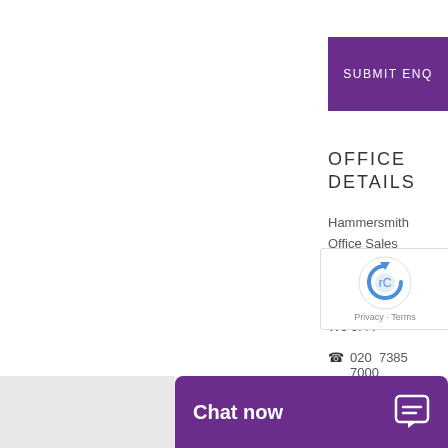SUBMIT ENQ
OFFICE DETAILS
Hammersmith Office Sales 192 Fulham Palace Road London W6 9PA
020 7385 7000
hammersmith@law
Chat now